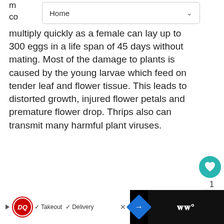Home
multiply quickly as a female can lay up to 300 eggs in a life span of 45 days without mating. Most of the damage to plants is caused by the young larvae which feed on tender leaf and flower tissue. This leads to distorted growth, injured flower petals and premature flower drop. Thrips also can transmit many harmful plant viruses.
[Figure (screenshot): Teal heart/like button with count of 1, and a share button below it]
[Figure (screenshot): What's Next card showing Pansy - Perennial... with a pink flower thumbnail]
[Figure (screenshot): Bottom advertisement bar with Dairy Queen logo showing Takeout and Delivery options, a blue navigation diamond icon, and a dark section with WW logo]